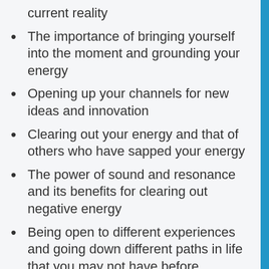current reality
The importance of bringing yourself into the moment and grounding your energy
Opening up your channels for new ideas and innovation
Clearing out your energy and that of others who have sapped your energy
The power of sound and resonance and its benefits for clearing out negative energy
Being open to different experiences and going down different paths in life that you may not have before
Where your purpose comes from and how to connect to it
The inner work that leads to clearing out the soup covering the purpose we have inside all of us